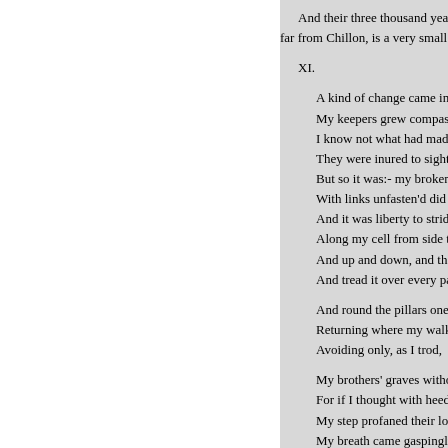And their three thousand years
far from Chillon, is a very small

XI.

A kind of change came in m
My keepers grew compassio
I know not what had made t
They were inured to sights o
But so it was:- my broken c
With links unfasten'd did re
And it was liberty to stride
Along my cell from side to
And up and down, and then
And tread it over every part

And round the pillars one by
Returning where my walk b
Avoiding only, as I trod,

My brothers' graves without
For if I thought with heedle
My step profaned their lowl
My breath came gaspingly a